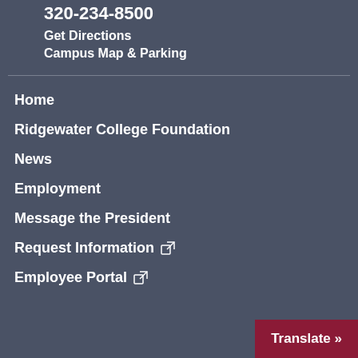320-234-8500
Get Directions
Campus Map & Parking
Home
Ridgewater College Foundation
News
Employment
Message the President
Request Information
Employee Portal
Translate »